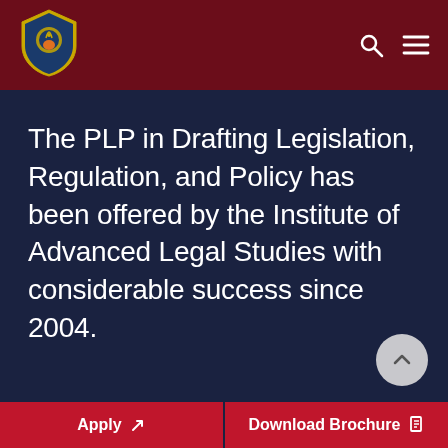[Figure (logo): Institute of Advanced Legal Studies shield logo in gold and blue on dark red header background]
The PLP in Drafting Legislation, Regulation, and Policy has been offered by the Institute of Advanced Legal Studies with considerable success since 2004.
Apply
Download Brochure